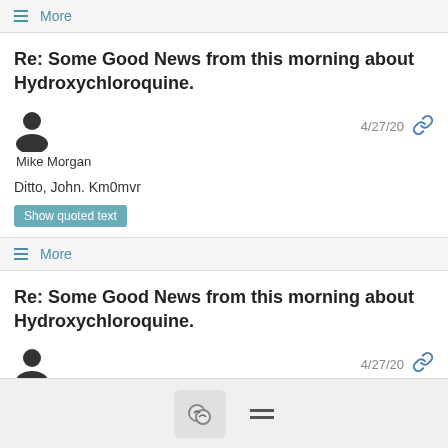≡ More
Re: Some Good News from this morning about Hydroxychloroquine.
Mike Morgan  4/27/20
Ditto, John. Km0mvr
Show quoted text
≡ More
Re: Some Good News from this morning about Hydroxychloroquine.
William Vellema  4/27/20